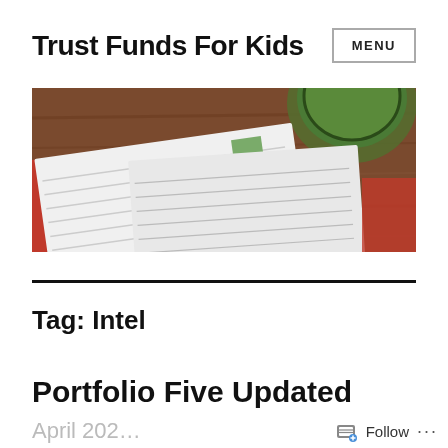Trust Funds For Kids
[Figure (photo): Overhead photo of an open notebook/planner with lined pages and a green cup on a wooden table background]
Tag: Intel
Portfolio Five Updated
April 202…